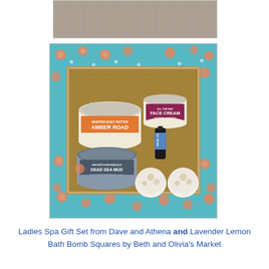[Figure (photo): Top portion of a photo showing a gray fabric/textile background, cropped at the bottom.]
[Figure (photo): A gift set box containing spa products: Amber Road whipped body butter jar, Face Cream jar, Facial Oil bottle, Dead Sea Mud jar, and two bath bomb spheres, arranged on brown packing material inside a gift box, set on a teal background with a floral pattern.]
Ladies Spa Gift Set from Dave and Athena and Lavender Lemon Bath Bomb Squares by Beth and Olivia's Market